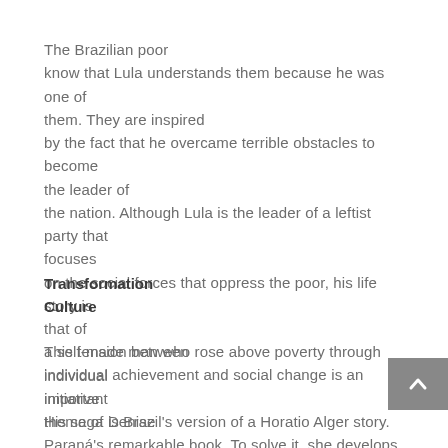The Brazilian poor know that Lula understands them because he was one of them. They are inspired by the fact that he overcame terrible obstacles to become the leader of the nation. Although Lula is the leader of a leftist party that focuses on the social forces that oppress the poor, his life story is that of a self-made man who rose above poverty through individual initiative. His saga is Brazil's version of a Horatio Alger story.
Transformation
Culture
This tension between individual achievement and social change is an important theme of Denise Paraná's remarkable book. To solve it, she develops the concept of the culture of transformation...